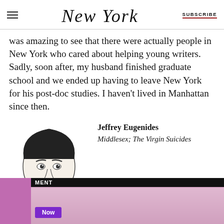New York | SUBSCRIBE
was amazing to see that there were actually people in New York who cared about helping young writers. Sadly, soon after, my husband finished graduate school and we ended up having to leave New York for his post-doc studies. I haven't lived in Manhattan since then.
[Figure (illustration): Black and white ink portrait illustration of Jeffrey Eugenides, a bearded man with curly hair]
Jeffrey Eugenides
Middlesex; The Virgin Suicides
[Figure (photo): Advertisement overlay with black bar labeled MENT, showing a person in a purple/lavender knit top with a Now button]